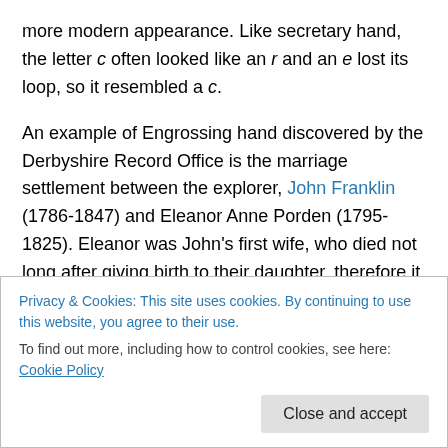more modern appearance. Like secretary hand, the letter c often looked like an r and an e lost its loop, so it resembled a c.
An example of Engrossing hand discovered by the Derbyshire Record Office is the marriage settlement between the explorer, John Franklin (1786-1847) and Eleanor Anne Porden (1795-1825). Eleanor was John's first wife, who died not long after giving birth to their daughter, therefore it should not have been too difficult to establish a dowry. Unfortunately, both of Eleanor's parents
Privacy & Cookies: This site uses cookies. By continuing to use this website, you agree to their use. To find out more, including how to control cookies, see here: Cookie Policy